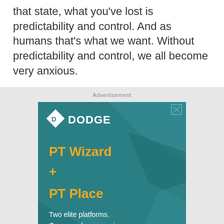that state, what you've lost is predictability and control. And as humans that's what we want. Without predictability and control, we all become very anxious.
Advertisement
[Figure (other): Dodge advertisement banner showing the Dodge logo with diamond icon, text 'PT Wizard + PT Place' in orange, and tagline 'Two elite platforms. One seamless experience.' on a teal geometric background.]